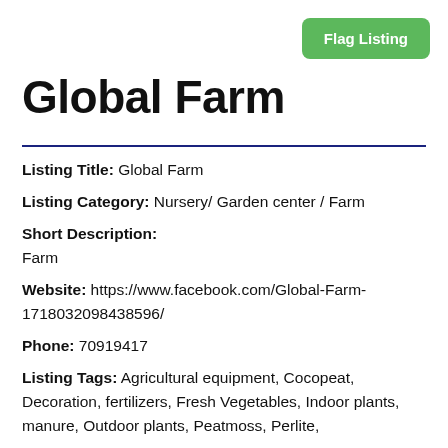[Figure (other): Green 'Flag Listing' button in top right corner]
Global Farm
Listing Title: Global Farm
Listing Category: Nursery/ Garden center / Farm
Short Description: Farm
Website: https://www.facebook.com/Global-Farm-1718032098438596/
Phone: 70919417
Listing Tags: Agricultural equipment, Cocopeat, Decoration, fertilizers, Fresh Vegetables, Indoor plants, manure, Outdoor plants, Peatmoss, Perlite,